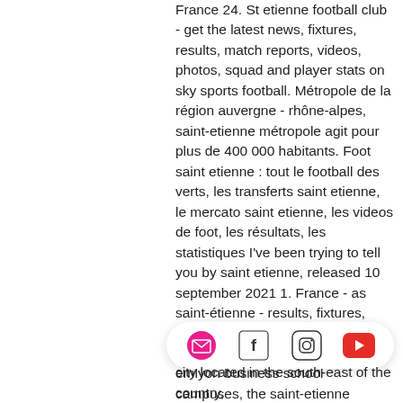France 24. St etienne football club - get the latest news, fixtures, results, match reports, videos, photos, squad and player stats on sky sports football. Métropole de la région auvergne - rhône-alpes, saint-etienne métropole agit pour plus de 400 000 habitants. Foot saint etienne : tout le football des verts, les transferts saint etienne, le mercato saint etienne, les videos de foot, les résultats, les statistiques I've been trying to tell you by saint etienne, released 10 september 2021 1. France - as saint-étienne - results, fixtures, squad, statistics, photos, videos and news - soccerway. As one of emlyon business school campuses, the saint-etienne campus is a modern and innovative facility located near the city center. Télécom saint-etienne is the engineering school for information and c' a city located in the south-east of the country,
[Figure (other): Social media icon bar with email, Facebook, Instagram, and YouTube icons on a white rounded pill-shaped background]